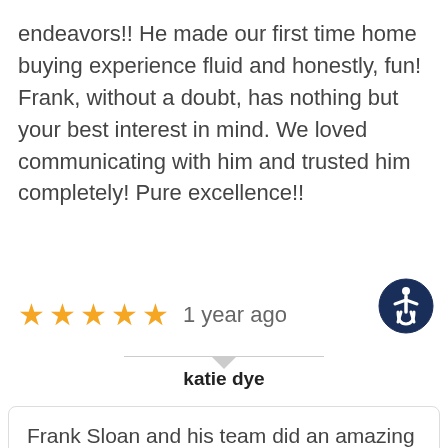endeavors!! He made our first time home buying experience fluid and honestly, fun! Frank, without a doubt, has nothing but your best interest in mind. We loved communicating with him and trusted him completely! Pure excellence!!
[Figure (infographic): Five orange/gold star rating icons followed by text '1 year ago']
[Figure (infographic): Accessibility icon button - circular dark navy blue button with white wheelchair/person accessibility symbol]
katie dye
Frank Sloan and his team did an amazing job helping me through the